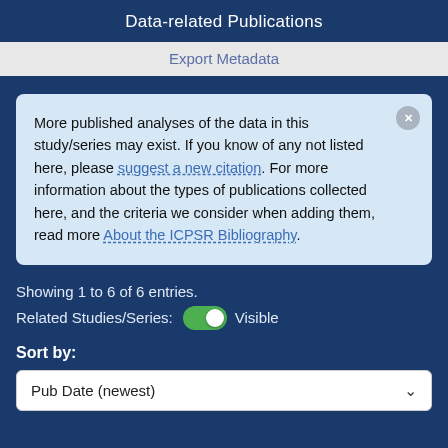Data-related Publications
Export Metadata
More published analyses of the data in this study/series may exist. If you know of any not listed here, please suggest a new citation. For more information about the types of publications collected here, and the criteria we consider when adding them, read more About the ICPSR Bibliography.
Showing 1 to 6 of 6 entries.
Related Studies/Series: Visible
Sort by:
Pub Date (newest)